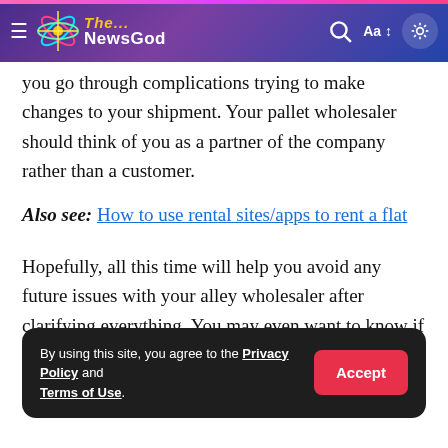The... NewsGod
you go through complications trying to make changes to your shipment. Your pallet wholesaler should think of you as a partner of the company rather than a customer.
Also see: How to use rental sites/apps to rent a flat
Hopefully, all this time will help you avoid any future issues with your alley wholesaler after clarifying everything. You may even want to know if your pallet wholesaler is insured in case of any sudden damage to your shipment.
By using this site, you agree to the Privacy Policy and Terms of Use.